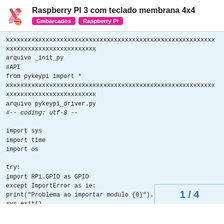Raspberry PI 3 com teclado membrana 4x4
Embarcados  Raspberry Pi
xxxxxxxxxxxxxxxxxxxxxxxxxxxxxxxxxxxxxxxxxxxxxxxxxxxxxxxxxx
xxxxxxxxxxxxxxxxxxxxxxxxx
arquivo _init_py
#API
from pykeypi import *
xxxxxxxxxxxxxxxxxxxxxxxxxxxxxxxxxxxxxxxxxxxxxxxxxxxxxxxxxx
xxxxxxxxxxxxxxxxxxxxxxxxx
arquivo pykeypi_driver.py
#-- coding: utf-8 --

import sys
import time
import os

try:
import RPi.GPIO as GPIO
except ImportError as ie:
print("Problema ao importar modulo {0}").fo
sys.exit()
1 / 4